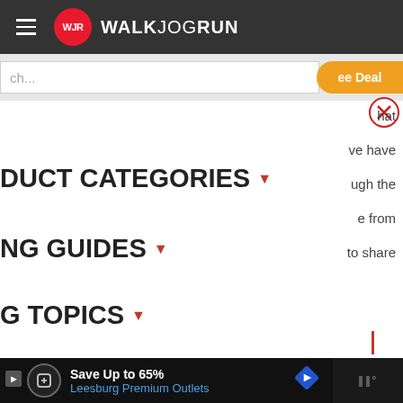WALKJOGRUN
ch...
ee Deal
hat
ve have
DUCT CATEGORIES
ugh the
e from
NG GUIDES
to share
G TOPICS
IDS
Save Up to 65% Leesburg Premium Outlets